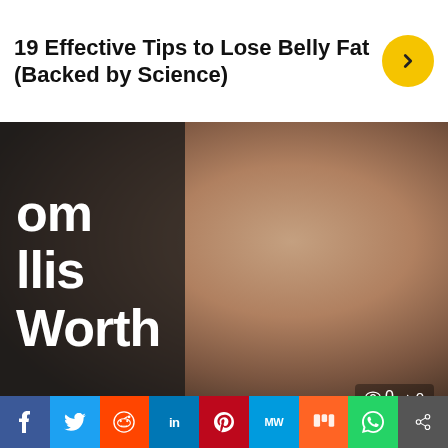19 Effective Tips to Lose Belly Fat (Backed by Science)
[Figure (photo): Close-up photo of Tom Ellis, a dark-haired man with beard, wearing a dark jacket, with overlaid text on left: 'Tom Ellis Net Worth', and view/share count overlay at bottom right showing 0 views, 0 shares]
NET WORTH  TOM ELLIS  TOM ELLIS ASSETS  TOM ELLIS BIOGRAPHY  TOM ELLIS CAREER  TOM ELLIS EARLY YEARS  TOM ELLIS INCOME  TOM ELLIS NET WORTH  TOM ELLIS NET WORTH 2022  TOM ELLIS NET WORTH GROWTH  TOM ELLIS RELATIONSHIP  TOM ELLIS SALARY
Tom Ellis Net Worth 2022: Age, Height, Family, Career, Cars, House, Assets, Salary, Relationship and...